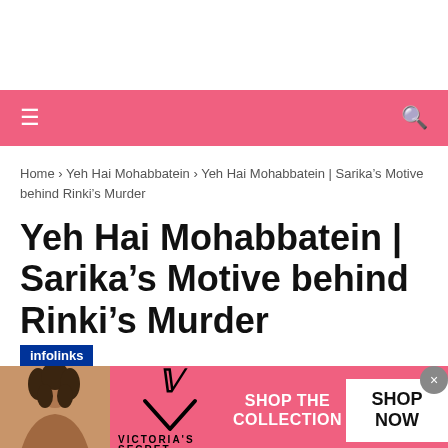Navigation bar with hamburger menu and search icon
Home > Yeh Hai Mohabbatein > Yeh Hai Mohabbatein | Sarika's Motive behind Rinki's Murder
Yeh Hai Mohabbatein | Sarika's Motive behind Rinki's Murder
[Figure (photo): Advertisement banner for Victoria's Secret showing a woman model on the left, Victoria's Secret logo in center, text 'SHOP THE COLLECTION' and a 'SHOP NOW' button on the right, pink background. Includes infolinks label and close button.]